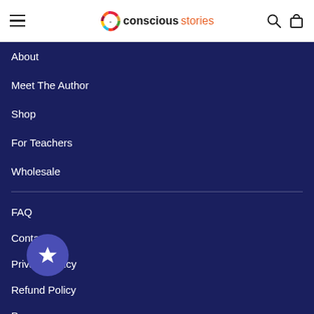consciousstories
About
Meet The Author
Shop
For Teachers
Wholesale
FAQ
Contact
Privacy Policy
Refund Policy
Pr___cy
Terms of Service